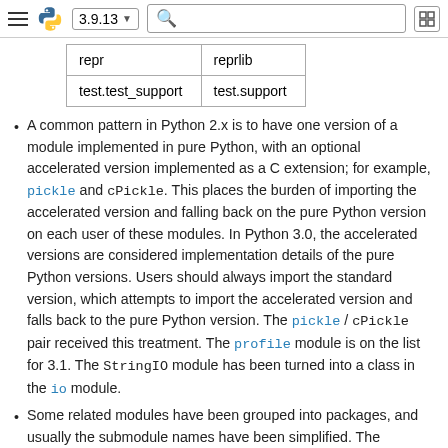3.9.13
| repr | reprlib |
| test.test_support | test.support |
A common pattern in Python 2.x is to have one version of a module implemented in pure Python, with an optional accelerated version implemented as a C extension; for example, pickle and cPickle. This places the burden of importing the accelerated version and falling back on the pure Python version on each user of these modules. In Python 3.0, the accelerated versions are considered implementation details of the pure Python versions. Users should always import the standard version, which attempts to import the accelerated version and falls back to the pure Python version. The pickle / cPickle pair received this treatment. The profile module is on the list for 3.1. The StringIO module has been turned into a class in the io module.
Some related modules have been grouped into packages, and usually the submodule names have been simplified. The resulting new packages are:
dbm (anydbm, dbhash, dbm, dumbdbm, gdbm, whichdb)